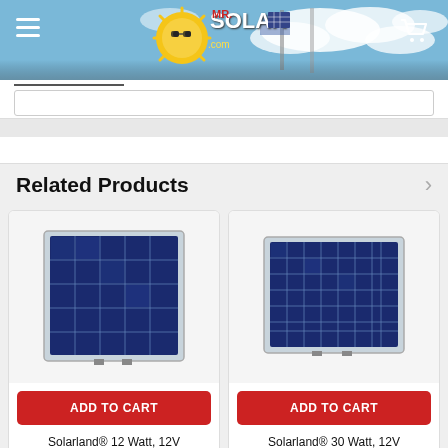Mr. Solar website header with logo and navigation
Related Products
[Figure (photo): Solarland 12 Watt 12V solar panel product image]
ADD TO CART
Solarland® 12 Watt, 12V
[Figure (photo): Solarland 30 Watt 12V solar panel product image]
ADD TO CART
Solarland® 30 Watt, 12V